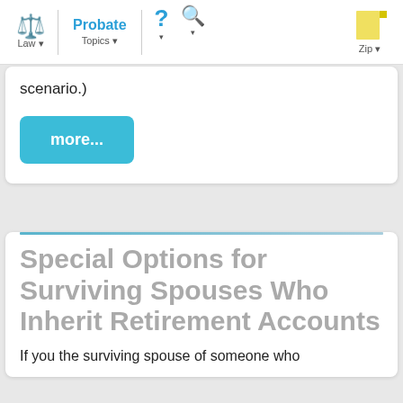Law | Probate Topics | ? | Q | Zip
scenario.)
more...
Special Options for Surviving Spouses Who Inherit Retirement Accounts
If you the surviving spouse of someone who